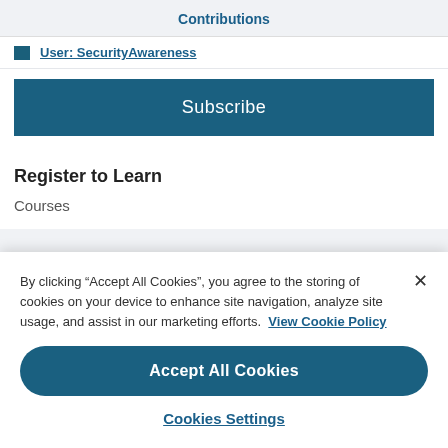Contributions
User: SecurityAwareness
Subscribe
Register to Learn
Courses
By clicking “Accept All Cookies”, you agree to the storing of cookies on your device to enhance site navigation, analyze site usage, and assist in our marketing efforts. View Cookie Policy
Accept All Cookies
Cookies Settings